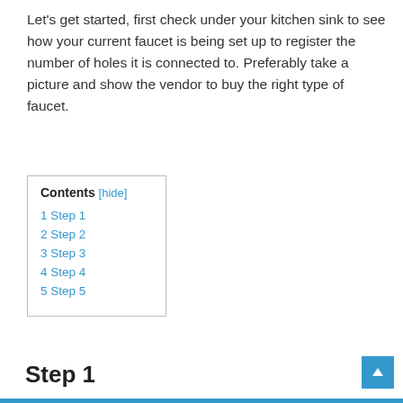Let's get started, first check under your kitchen sink to see how your current faucet is being set up to register the number of holes it is connected to. Preferably take a picture and show the vendor to buy the right type of faucet.
| Contents |
| --- |
| 1 Step 1 |
| 2 Step 2 |
| 3 Step 3 |
| 4 Step 4 |
| 5 Step 5 |
Step 1